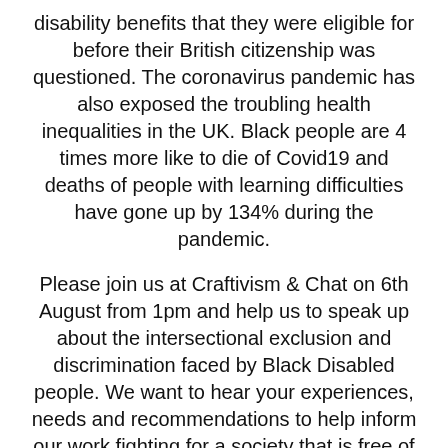disability benefits that they were eligible for before their British citizenship was questioned. The coronavirus pandemic has also exposed the troubling health inequalities in the UK. Black people are 4 times more like to die of Covid19 and deaths of people with learning difficulties have gone up by 134% during the pandemic.
Please join us at Craftivism & Chat on 6th August from 1pm and help us to speak up about the intersectional exclusion and discrimination faced by Black Disabled people. We want to hear your experiences, needs and recommendations to help inform our work fighting for a society that is free of inequality.
#blacklivesmatter #blackdisabledlivesmatter